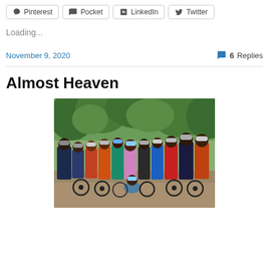Pinterest | Pocket | LinkedIn | Twitter
Loading...
November 9, 2020   6 Replies
Almost Heaven
[Figure (photo): Group of mountain bikers with helmets and bikes posing together on a dirt trail surrounded by green trees]